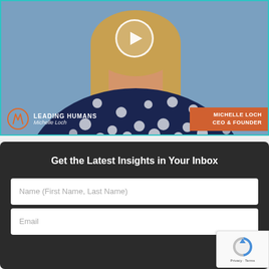[Figure (photo): Video thumbnail showing a woman in a navy polka-dot blouse with a play button overlay. Lower bar shows 'LEADING HUMANS / Michelle Loch' logo on the left and 'MICHELLE LOCH CEO & FOUNDER' orange badge on the right. Teal border around the image.]
Get the Latest Insights in Your Inbox
Name (First Name, Last Name)
Email